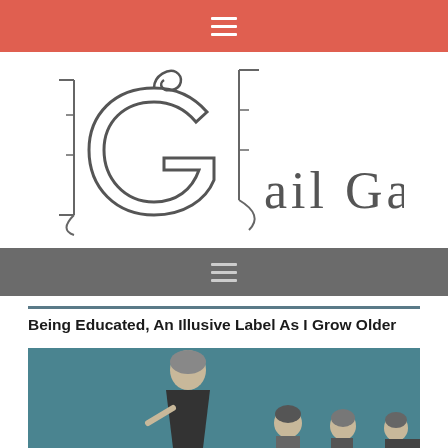☰
[Figure (logo): Gail Gates logo — stylized G letterform with decorative elements and text 'ail Gates']
☰
Being Educated, An Illusive Label As I Grow Older
[Figure (photo): Black and white photo of a teacher with students against a teal background]